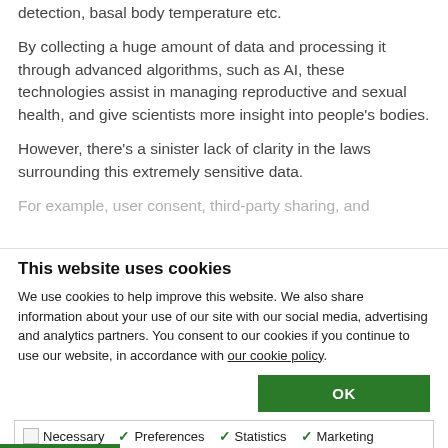detection, basal body temperature etc.
By collecting a huge amount of data and processing it through advanced algorithms, such as AI, these technologies assist in managing reproductive and sexual health, and give scientists more insight into people's bodies.
However, there's a sinister lack of clarity in the laws surrounding this extremely sensitive data.
For example, user consent, third-party sharing, and
This website uses cookies
We use cookies to help improve this website. We also share information about your use of our site with our social media, advertising and analytics partners. You consent to our cookies if you continue to use our website, in accordance with our cookie policy.
OK
Necessary  Preferences  Statistics  Marketing